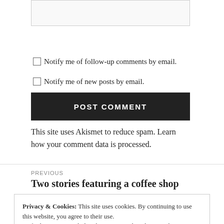[input box]
Notify me of follow-up comments by email.
Notify me of new posts by email.
POST COMMENT
This site uses Akismet to reduce spam. Learn how your comment data is processed.
PREVIOUS
Two stories featuring a coffee shop
Privacy & Cookies: This site uses cookies. By continuing to use this website, you agree to their use.
To find out more, including how to control cookies, see here: Cookie Policy
Close and accept